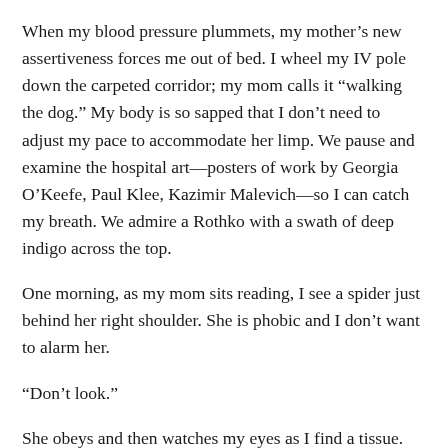When my blood pressure plummets, my mother’s new assertiveness forces me out of bed. I wheel my IV pole down the carpeted corridor; my mom calls it “walking the dog.” My body is so sapped that I don’t need to adjust my pace to accommodate her limp. We pause and examine the hospital art—posters of work by Georgia O’Keefe, Paul Klee, Kazimir Malevich—so I can catch my breath. We admire a Rothko with a swath of deep indigo across the top.
One morning, as my mom sits reading, I see a spider just behind her right shoulder. She is phobic and I don’t want to alarm her.
“Don’t look.”
She obeys and then watches my eyes as I find a tissue.